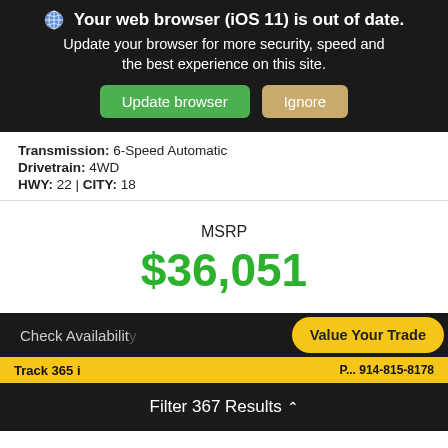[Figure (screenshot): Browser update warning banner with globe icon, bold text 'Your web browser (iOS 11) is out of date.', subtitle text, and two buttons: 'Update browser' (green) and 'Ignore' (tan).]
Transmission: 6-Speed Automatic
Drivetrain: 4WD
HWY: 22 | CITY: 18
MSRP
$36,051
Check Availability
Value Your Trade
Filter 367 Results ^